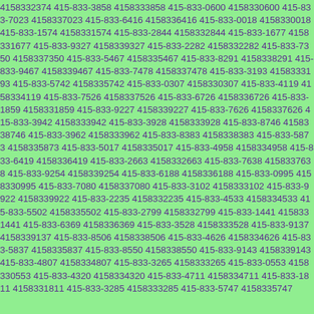4158332374 415-833-3858 4158333858 415-833-0600 4158330600 415-833-7023 4158337023 415-833-6416 4158336416 415-833-0018 4158330018 415-833-1574 4158331574 415-833-2844 4158332844 415-833-1677 4158331677 415-833-9327 4158339327 415-833-2282 4158332282 415-833-7350 4158337350 415-833-5467 4158335467 415-833-8291 4158338291 415-833-9467 4158339467 415-833-7478 4158337478 415-833-3193 4158333193 415-833-5742 4158335742 415-833-0307 4158330307 415-833-4119 4158334119 415-833-7526 4158337526 415-833-6726 4158336726 415-833-1859 4158331859 415-833-9227 4158339227 415-833-7626 4158337626 415-833-3942 4158333942 415-833-3928 4158333928 415-833-8746 4158338746 415-833-3962 4158333962 415-833-8383 4158338383 415-833-5873 4158335873 415-833-5017 4158335017 415-833-4958 4158334958 415-833-6419 4158336419 415-833-2663 4158332663 415-833-7638 4158337638 415-833-9254 4158339254 415-833-6188 4158336188 415-833-0995 4158330995 415-833-7080 4158337080 415-833-3102 4158333102 415-833-9922 4158339922 415-833-2235 4158332235 415-833-4533 4158334533 415-833-5502 4158335502 415-833-2799 4158332799 415-833-1441 4158331441 415-833-6369 4158336369 415-833-3528 4158333528 415-833-9137 4158339137 415-833-8506 4158338506 415-833-4626 4158334626 415-833-5837 4158335837 415-833-8550 4158338550 415-833-9143 4158339143 415-833-4807 4158334807 415-833-3265 4158333265 415-833-0553 4158330553 415-833-4320 4158334320 415-833-4711 4158334711 415-833-1811 4158331811 415-833-3285 4158333285 415-833-5747 4158335747